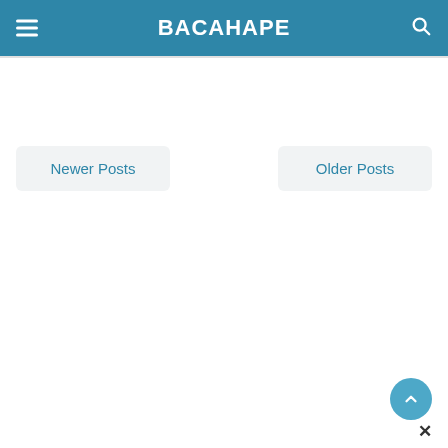BACAHAPE
Newer Posts
Older Posts